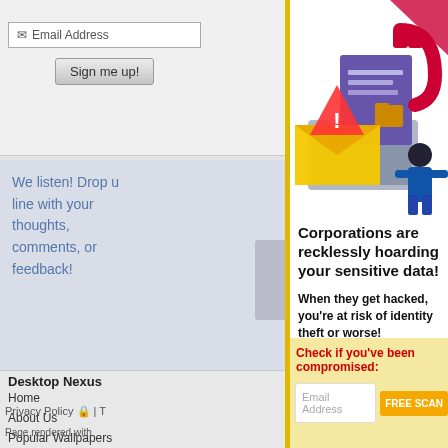[Figure (screenshot): Website sidebar with email address input field and Sign me up button]
We listen! Drop us a line with your thoughts, comments, or feedback!
Support This
Desktop Nexus
Home
About Us
Popular Wallpapers
Popular Tags
Community Stats
Member List
Contact Us
Privacy Policy | T
Page rendered with
[Figure (illustration): Illustration of a hacker with a magnet stealing data from a laptop with an envelope and warning sign]
Corporations are recklessly hoarding your sensitive data!
When they get hacked, you're at risk of identity theft or worse!
Check if you've been compromised:
Email Address
FREE SCAN